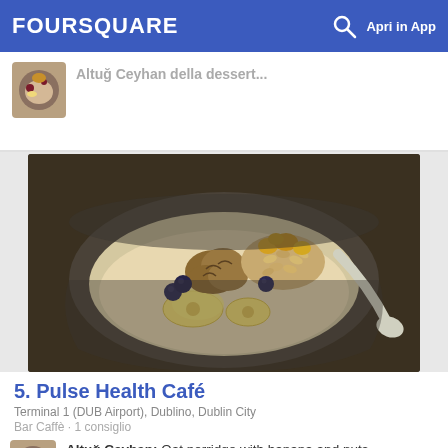FOURSQUARE  Apri in App
[Figure (photo): Partial previous card with small thumbnail showing oat porridge and partial title text (Altug Ceyhan della dessert...)]
[Figure (photo): Main photo: a dark bowl of oat porridge topped with banana slices, walnuts, blueberries, sunflower seeds, and golden raisins, with a spoon on the right side]
5. Pulse Health Café
Terminal 1 (DUB Airport), Dublino, Dublin City
Bar Caffè · 1 consiglio
Altuğ Ceyhan: Oat porridge with banana and nuts